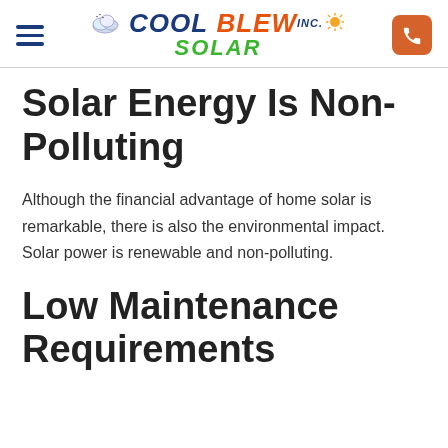Cool Blew Inc. Solar
Solar Energy Is Non-Polluting
Although the financial advantage of home solar is remarkable, there is also the environmental impact. Solar power is renewable and non-polluting.
Low Maintenance Requirements